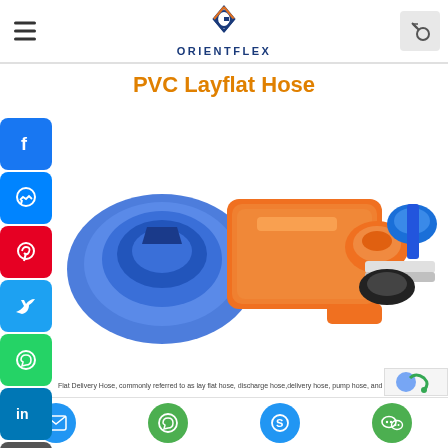ORIENTFLEX — navigation header with hamburger menu, logo, and search button
PVC Layflat Hose
[Figure (photo): Three PVC layflat hoses: a coiled blue hose on the left, an orange flat hose in the center, and multiple colorful hose rolls (orange, blue, white, black) on the right]
Flat Delivery Hose, commonly referred to as lay flat hose, discharge hose,delivery hose, pump hose, and flat hose is perfect for use with water, light chem
Bottom navigation bar with email, WhatsApp, Skype, and WeChat icons